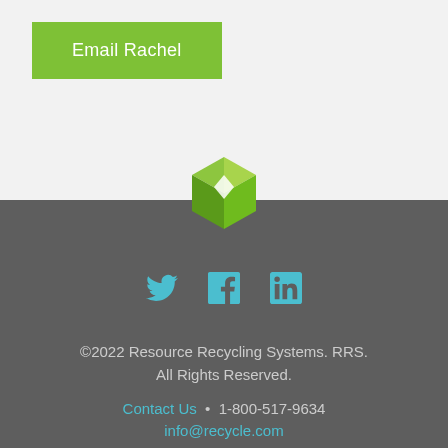Email Rachel
[Figure (logo): RRS diamond/cube logo in green]
[Figure (infographic): Social media icons: Twitter, Facebook, LinkedIn in teal/cyan]
©2022 Resource Recycling Systems. RRS. All Rights Reserved.
Contact Us • 1-800-517-9634
info@recycle.com